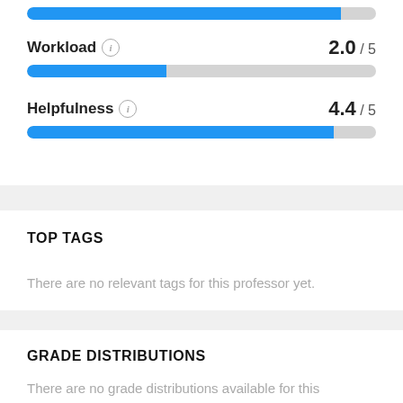[Figure (bar-chart): Workload]
[Figure (bar-chart): Helpfulness]
TOP TAGS
There are no relevant tags for this professor yet.
GRADE DISTRIBUTIONS
There are no grade distributions available for this